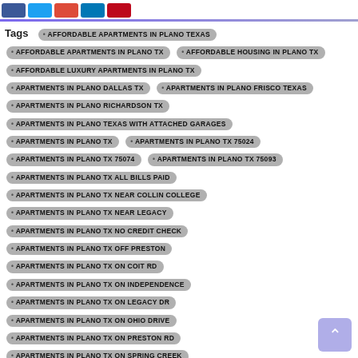AFFORDABLE APARTMENTS IN PLANO TEXAS
AFFORDABLE APARTMENTS IN PLANO TX
AFFORDABLE HOUSING IN PLANO TX
AFFORDABLE LUXURY APARTMENTS IN PLANO TX
APARTMENTS IN PLANO DALLAS TX
APARTMENTS IN PLANO FRISCO TEXAS
APARTMENTS IN PLANO RICHARDSON TX
APARTMENTS IN PLANO TEXAS WITH ATTACHED GARAGES
APARTMENTS IN PLANO TX
APARTMENTS IN PLANO TX 75024
APARTMENTS IN PLANO TX 75074
APARTMENTS IN PLANO TX 75093
APARTMENTS IN PLANO TX ALL BILLS PAID
APARTMENTS IN PLANO TX NEAR COLLIN COLLEGE
APARTMENTS IN PLANO TX NEAR LEGACY
APARTMENTS IN PLANO TX NO CREDIT CHECK
APARTMENTS IN PLANO TX OFF PRESTON
APARTMENTS IN PLANO TX ON COIT RD
APARTMENTS IN PLANO TX ON INDEPENDENCE
APARTMENTS IN PLANO TX ON LEGACY DR
APARTMENTS IN PLANO TX ON OHIO DRIVE
APARTMENTS IN PLANO TX ON PRESTON RD
APARTMENTS IN PLANO TX ON SPRING CREEK